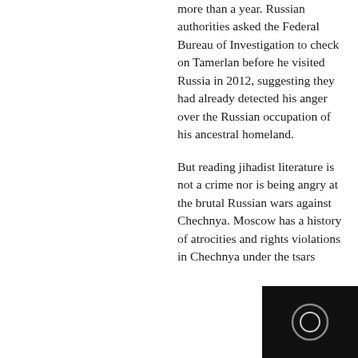more than a year. Russian authorities asked the Federal Bureau of Investigation to check on Tamerlan before he visited Russia in 2012, suggesting they had already detected his anger over the Russian occupation of his ancestral homeland.
But reading jihadist literature is not a crime nor is being angry at the brutal Russian wars against Chechnya. Moscow has a history of atrocities and rights violations in Chechnya under the tsars...
[Figure (other): Dark media player overlay in bottom-right corner showing a circular play/record button icon on black background]